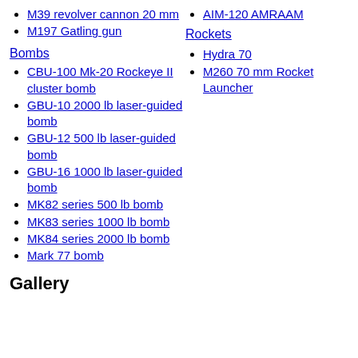M39 revolver cannon 20 mm
M197 Gatling gun
AIM-120 AMRAAM
Bombs
Rockets
CBU-100 Mk-20 Rockeye II cluster bomb
GBU-10 2000 lb laser-guided bomb
GBU-12 500 lb laser-guided bomb
GBU-16 1000 lb laser-guided bomb
MK82 series 500 lb bomb
MK83 series 1000 lb bomb
MK84 series 2000 lb bomb
Mark 77 bomb
Hydra 70
M260 70 mm Rocket Launcher
Gallery